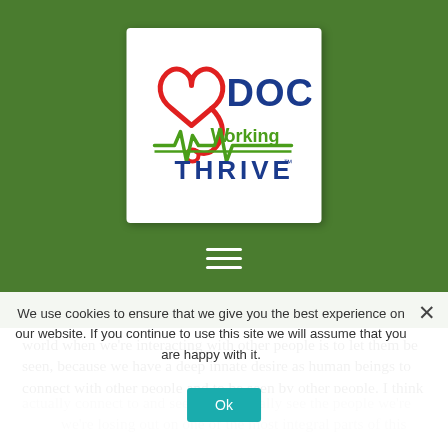[Figure (logo): Doc Working Thrive logo: red heart outline with stethoscope, green EKG line, blue 'DOC' text, blue 'THRIVE' text with trademark symbol, green 'Working' text]
world when we're interacting with other people is to let them be seen, because we have a deep innate desire as human beings to connect with other people and to be seen by other people. I think sometimes, when we
We use cookies to ensure that we give you the best experience on our website. If you continue to use this site we will assume that you are happy with it.
actually connect to and see. I mean, really see the people we're we're losing out on one of the most integral parts of this